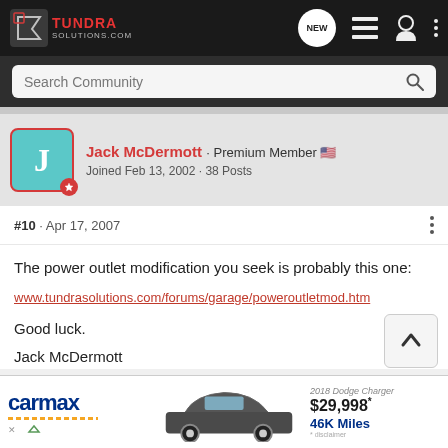[Figure (screenshot): TundraSolutions.com website header with logo, NEW chat icon, list icon, user icon, and more options icon]
[Figure (screenshot): Search Community search bar with magnifying glass icon]
Jack McDermott · Premium Member 🇺🇸
Joined Feb 13, 2002 · 38 Posts
#10 · Apr 17, 2007
The power outlet modification you seek is probably this one:
www.tundrasolutions.com/forums/garage/poweroutletmod.htm
Good luck.
Jack McDermott
[Figure (screenshot): CarMax advertisement showing 2018 Dodge Charger for $29,998* with 46K Miles]